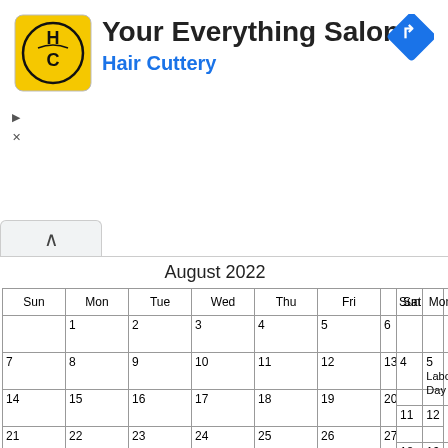[Figure (logo): Hair Cuttery HC logo — yellow square with rounded corners, circle with HC initials inside]
Your Everything Salon
Hair Cuttery
[Figure (other): Blue diamond navigation/directions icon with right-turn arrow]
▷
×
^
August 2022
| Sun | Mon | Tue | Wed | Thu | Fri | Sat |
| --- | --- | --- | --- | --- | --- | --- |
|  | 1 | 2 | 3 | 4 | 5 | 6 |
| 7 | 8 | 9 | 10 | 11 | 12 | 13 |
| 14 | 15 | 16 | 17 | 18 | 19 | 20 |
| 21 | 22 | 23 | 24 | 25 | 26 | 27 |
| 28 | 29 | 30 | 31 |  |  |  |
Sep
| Sun | Mon | T… |
| --- | --- | --- |
|  |  |  |
| 4 | 5
Labor Day |  |
| 11 | 12 |  |
| 18 | 19 |  |
| 25 | 26 |  |